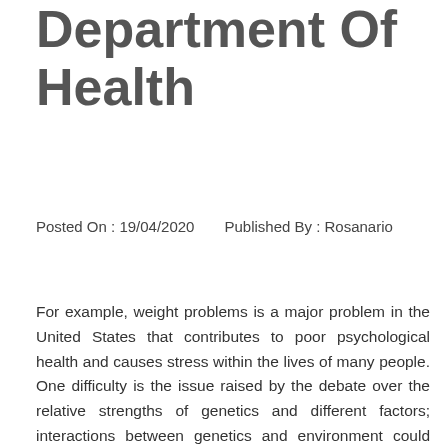Department Of Health
Posted On : 19/04/2020    Published By : Rosanario
For example, weight problems is a major problem in the United States that contributes to poor psychological health and causes stress within the lives of many people. One difficulty is the issue raised by the debate over the relative strengths of genetics and different factors; interactions between genetics and environment could additionally be of specific importance. The inhabitants in question could be as small as a handful of individuals or as giant as all the